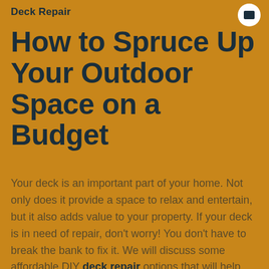Deck Repair
How to Spruce Up Your Outdoor Space on a Budget
Your deck is an important part of your home. Not only does it provide a space to relax and entertain, but it also adds value to your property. If your deck is in need of repair, don't worry! You don't have to break the bank to fix it. We will discuss some affordable DIY deck repair options that will help...